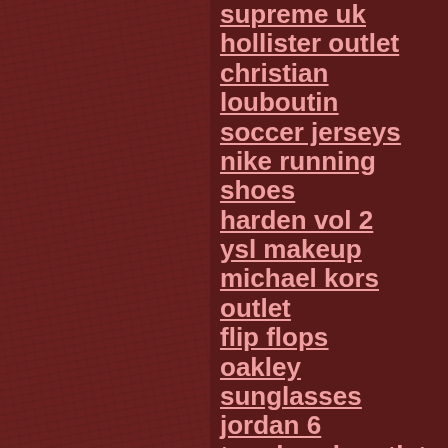supreme uk
hollister outlet
christian louboutin
soccer jerseys
nike running shoes
harden vol 2
ysl makeup
michael kors outlet
flip flops
oakley sunglasses
jordan 6
tory burch outlet
north face outlet
coach handbags
soccer shirts